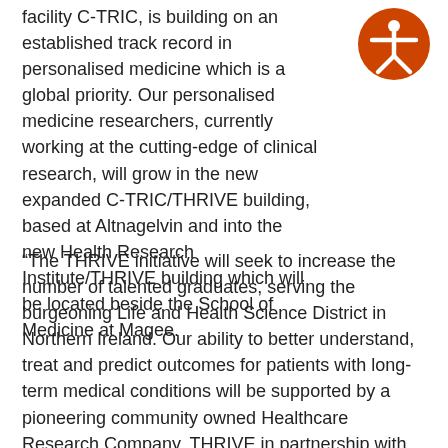facility C-TRIC, is building on an established track record in personalised medicine which is a global priority. Our personalised medicine researchers, currently working at the cutting-edge of clinical research, will grow in the new expanded C-TRIC/THRIVE building, based at Altnagelvin and into the new Health Research Institute/THRIVE building which will be located beside the School of Medicine at Magee.
[Figure (illustration): Orange circle with white accessibility/person icon (stick figure with arms outstretched)]
“The THRIVE initiative will seek to increase the number of talented graduates, serving the burgeoning Life and Health Science District in Northern Ireland. Our ability to better understand, treat and predict outcomes for patients with long-term medical conditions will be supported by a pioneering community owned Healthcare Research Company. THRIVE in partnership with our community will study the secrets of long-term medical conditions through their DNA. This rich repository of healthcare information will help attract more investment to the DCSDC area and across Northern Ireland.